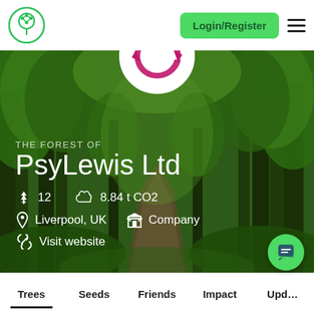Login/Register
THE FOREST OF
PsyLewis Ltd
12  8.84 t CO2  Liverpool, UK  Company  Visit website
[Figure (screenshot): Forest of PsyLewis Ltd company profile page on a tree-planting platform. Shows a green forest background with a path, profile logo, stats showing 12 trees, 8.84 t CO2, location Liverpool UK, type Company, and a Visit website link.]
Trees  Seeds  Friends  Impact  Updates